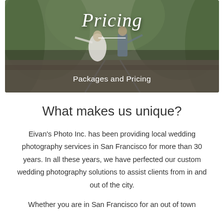[Figure (photo): Wedding couple walking on train tracks in a forest setting, with cursive 'Pricing' text overlay at top and 'Packages and Pricing' subtitle at the bottom of the image.]
What makes us unique?
Eivan's Photo Inc. has been providing local wedding photography services in San Francisco for more than 30 years. In all these years, we have perfected our custom wedding photography solutions to assist clients from in and out of the city.
Whether you are in San Francisco for an out of town